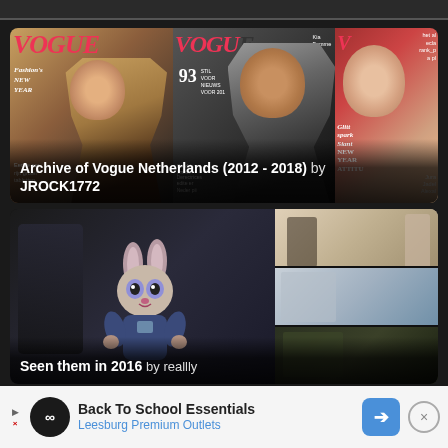[Figure (screenshot): Top navigation bar, dark gray]
[Figure (photo): Vogue Netherlands magazine covers collage (2012-2018) showing three overlapping covers with models]
Archive of Vogue Netherlands (2012 - 2018) by JROCK1772
[Figure (photo): Movie collage titled 'Seen them in 2016' by reallly, featuring animated bunny from Zootopia on left and three movie scene thumbnails on right]
Seen them in 2016 by reallly
[Figure (screenshot): Advertisement banner: Back To School Essentials - Leesburg Premium Outlets]